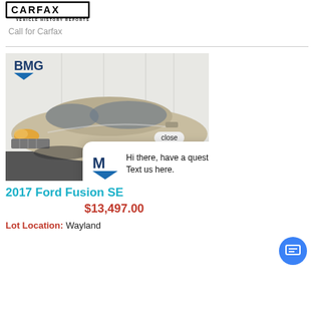[Figure (logo): Carfax Vehicle History Reports logo — black rectangle border with CARFAX text and 'VEHICLE HISTORY REPORTS' subtitle]
Call for Carfax
[Figure (photo): 2017 Ford Fusion SE in champagne/gold color parked indoors against white curtain backdrop, with BMG dealership logo in top-left corner and 'Wayland Location' watermark at bottom. A chat popup overlay reads: 'Hi there, have a question? Text us here.' with an M logo icon and a close button. A blue circular chat icon is at bottom right.]
2017 Ford Fusion SE
$13,497.00
Lot Location: Wayland